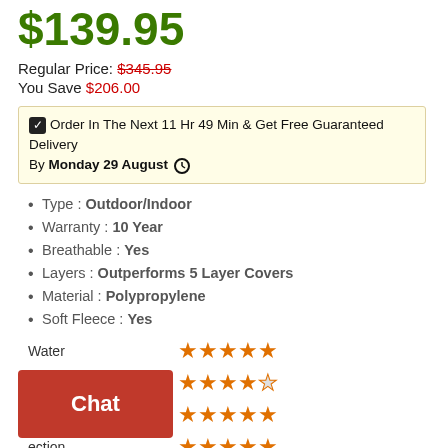$139.95
Regular Price: $345.95
You Save $206.00
☑ Order In The Next 11 Hr 49 Min & Get Free Guaranteed Delivery By Monday 29 August ⊙
Type : Outdoor/Indoor
Warranty : 10 Year
Breathable : Yes
Layers : Outperforms 5 Layer Covers
Material : Polypropylene
Soft Fleece : Yes
| Category | Rating |
| --- | --- |
| Water | 5 stars |
| Snow | 4 stars |
| (row 3) | 5 stars |
| (ection) | 5 stars |
| Hail | 1 star |